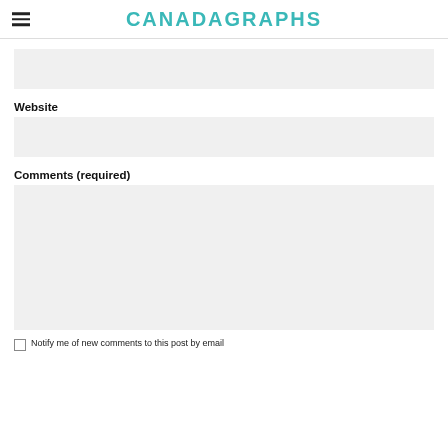CANADAGRAPHS
[Figure (other): Gray input field box (partially visible at top of content area)]
Website
[Figure (other): Gray input field box for Website]
Comments (required)
[Figure (other): Gray textarea box for Comments]
Notify me of new comments to this post by email